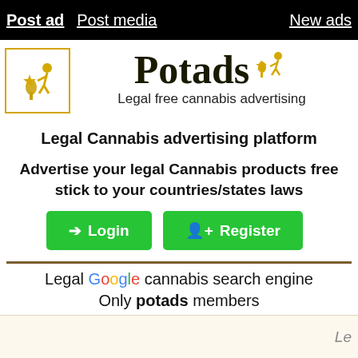Post ad | Post media | New ads
[Figure (logo): Potads logo: yellow figure kneeling with cannabis plant in yellow border box]
Potads — Legal free cannabis advertising
Legal Cannabis advertising platform
Advertise your legal Cannabis products free stick to your countries/states laws
Login   Register
Legal Google cannabis search engine
Only potads members
Le